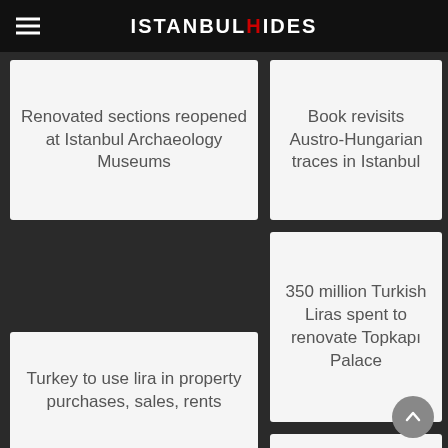ISTANBULHIDES
Renovated sections reopened at Istanbul Archaeology Museums
Book revisits Austro-Hungarian traces in Istanbul
350 million Turkish Liras spent to renovate Topkapı Palace
Turkey to use lira in property purchases, sales, rents